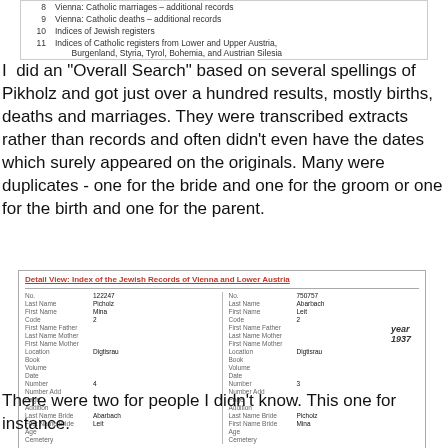[Figure (table-as-image): Numbered list table showing items 8-11: Vienna Catholic marriages additional records, Vienna Catholic deaths additional records, Indices of Jewish registers, Indices of Catholic registers from Lower and Upper Austria, Burgenland, Styria, Tyrol, Bohemia, and Austrian Silesia]
I did an "Overall Search" based on several spellings of Pikholz and got just over a hundred results, mostly births, deaths and marriages. They were transcribed extracts rather than records and often didn't even have the dates which surely appeared on the originals. Many were duplicates - one for the bride and one for the groom or one for the birth and one for the parent.
[Figure (screenshot): Detail View: Index of the Jewish Records of Vienna and Lower Austria. Shows two records side by side. Left: No. 122247, Last Name Picholz, First Name Mina, Code 2, Location Digtisrau, Number 4. Right: No. 750757, Last Name Abarbach, First Name Leit, Code 2, Location Digtisrau, Number 3, Last Name Bride Picholz, First Name Bride Mina. Year 1937 shown. Footer: 1-Births 2-Marriages 3-Burials]
There were two for people I didn't know. This one for instance.